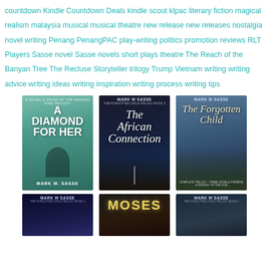countdown Kindle Countdown Deals kindle scout klpac literary fiction magical realism malaysia musical musical theatre new release new releases nostalgia novel writing Penang PenangPAC play-writing politics promotion reviews RLT Players Sasse novel Sasse novels short plays theatre The Reach of the Banyan Tree The Recluse Storyteller trilogy Trump Vietnam writing writing advice writing ideas writing inspiration writing process writing tips
[Figure (photo): Book cover: A Diamond For Her by Mark W Sasse, green/teal tones]
[Figure (photo): Book cover: The African Connection by Mark W Sasse, dark blue night street scene]
[Figure (photo): Book cover: The Forgotten Child by Mark W Sasse, mountain/cloudy scene]
[Figure (photo): Book cover: Mark W Sasse novel, dark blue cover]
[Figure (photo): Book cover: Moses, dark dramatic cover]
[Figure (photo): Book cover: Mark W Sasse, The Forgotten Child Trilogy Book 1, dark cover]